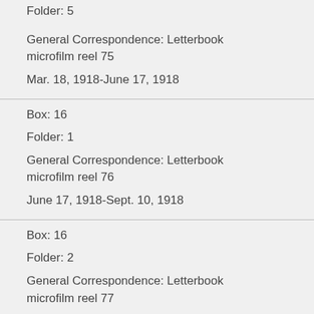Folder: 5
General Correspondence: Letterbook microfilm reel 75
Mar. 18, 1918-June 17, 1918
Box: 16
Folder: 1
General Correspondence: Letterbook microfilm reel 76
June 17, 1918-Sept. 10, 1918
Box: 16
Folder: 2
General Correspondence: Letterbook microfilm reel 77